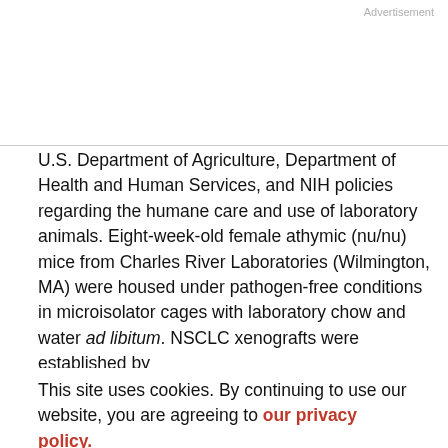Advertisement
U.S. Department of Agriculture, Department of Health and Human Services, and NIH policies regarding the humane care and use of laboratory animals. Eight-week-old female athymic (nu/nu) mice from Charles River Laboratories (Wilmington, MA) were housed under pathogen-free conditions in microisolator cages with laboratory chow and water ad libitum. NSCLC xenografts were established by
injecting s.c. into the left flanks 2 × 10⁷ (A549, NCI-H358, NCI-927), 5 × 10⁶ (Calu-6, NCI-H23), 5 × 10⁶ (NCI-H480), or 1 × 10⁶ (NCI-H1975) cells per mouse mixed 1:1 in Matrigel (100% Matrigel for A549; Collaborative
This site uses cookies. By continuing to use our website, you are agreeing to our privacy policy. Accept